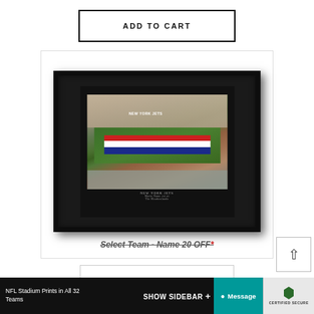ADD TO CART
[Figure (photo): Framed New York Jets NFL stadium personalized print with American flag on field, displayed in black frame with black mat]
Select Team - Name 20 OFF*
SHOW SIDEBAR +
NFL Stadium Prints in All 32 Teams
Message
CERTIFIED SECURE